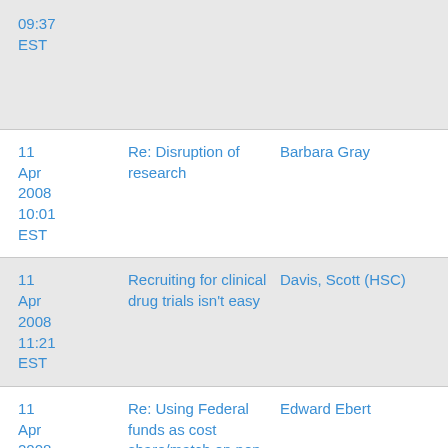| Date | Subject | Sender |
| --- | --- | --- |
| 11 Apr 2008 09:37 EST |  |  |
| 11 Apr 2008 10:01 EST | Re: Disruption of research | Barbara Gray |
| 11 Apr 2008 11:21 EST | Recruiting for clinical drug trials isn't easy | Davis, Scott (HSC) |
| 11 Apr 2008 11:31 EST | Re: Using Federal funds as cost share/match on non Federal... | Edward Ebert |